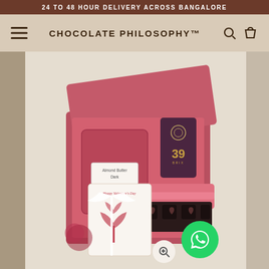24 TO 48 HOUR DELIVERY ACROSS BANGALORE
CHOCOLATE PHILOSOPHY™
[Figure (photo): Open red/pink gift hamper box containing chocolate products: a pink flat pouch labeled 'Almond Butter Dark', a dark chocolate bar branded '39 BRIX', a heart-shaped chocolate box with 4 heart chocolates in a pink box, and a white Valentine's Day greeting card with a red tree illustration on it, all arranged on a beige background.]